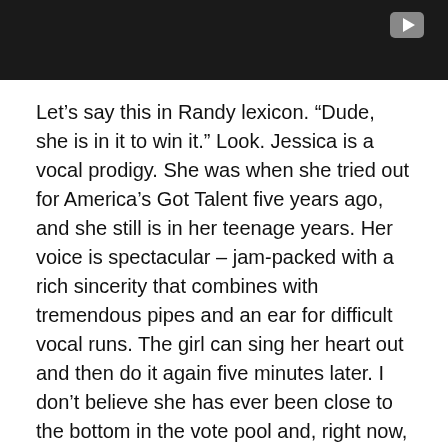[Figure (screenshot): Dark video thumbnail with YouTube-style play button in top right corner]
Let’s say this in Randy lexicon. “Dude, she is in it to win it.” Look. Jessica is a vocal prodigy. She was when she tried out for America’s Got Talent five years ago, and she still is in her teenage years. Her voice is spectacular – jam-packed with a rich sincerity that combines with tremendous pipes and an ear for difficult vocal runs. The girl can sing her heart out and then do it again five minutes later. I don’t believe she has ever been close to the bottom in the vote pool and, right now, it seems like smooth sailing into the finals.
The other two, though, are quite difficult to pick. Well, actually, only one spot is difficult for me because my winner is not Jessica Sanchez. Elise may be bound for